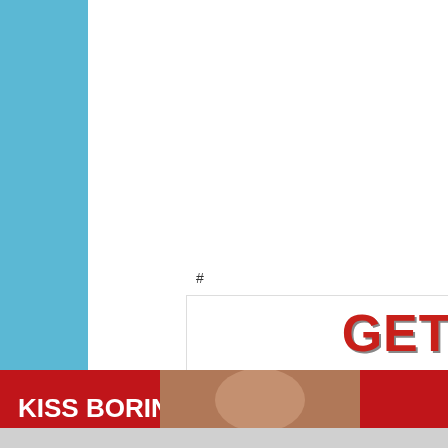4. Remove the accessory driv...
5. Remove the 4 coolant pump...
6. Disconnect the thermostat h...
7. Disconnect the heater hose...
8. Disconnect the radiator-to-c...
9. Remove the 12 coolant pump... gasket. Use metal surface p... sealing surfaces. To install, ...
#
[Figure (infographic): Advertisement: GET YOUR EX BACK! Learn how you can win your ex's heart]
[Figure (illustration): Technical illustration of engine components/accessory drive belt system]
[Figure (photo): Macy's advertisement: KISS BORING LIPS GOODBYE with SHOP NOW button and Macy's logo, featuring a woman's face with red lipstick]